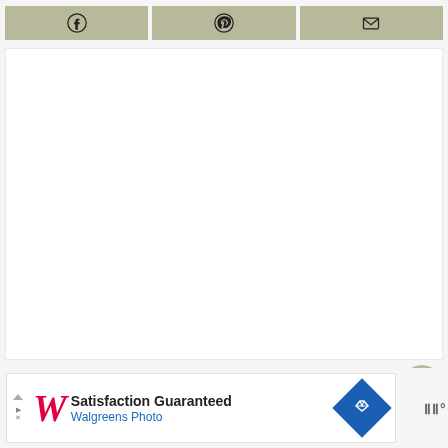[Figure (screenshot): A webpage UI showing three share buttons (Facebook, Pinterest, Email) in an olive/tan color bar at the top, a large white content area below, two floating action buttons (heart/favorite and share) on the right side, and an advertisement banner at the bottom for Walgreens Photo with 'Satisfaction Guaranteed' text.]